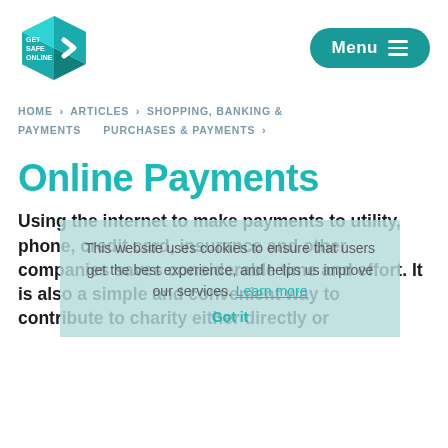[Figure (logo): Get Safe Online logo — teal 3D cube with white text GET SAFE ONLINE and a white chevron arrow on the right face]
[Figure (other): Teal rounded rectangle menu button with white text 'Menu' and three horizontal white lines (hamburger icon)]
HOME › ARTICLES › SHOPPING, BANKING & PAYMENTS PURCHASES & PAYMENTS ›
Online Payments
This website uses cookies to ensure that users get the best experience, and helps us improve our services. Learn more
Got it
Using the internet to make payments to utility, phone, credit card, insurance and other companies saves considerable time and effort. It is also a simple and convenient way to contribute to charity either directly or